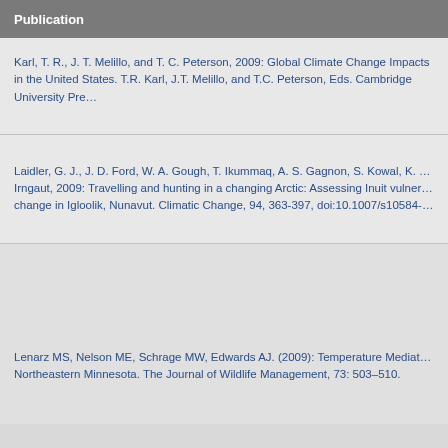Publication
Karl, T. R., J. T. Melillo, and T. C. Peterson, 2009: Global Climate Change Impacts in the United States. T.R. Karl, J.T. Melillo, and T.C. Peterson, Eds. Cambridge University Press.
Laidler, G. J., J. D. Ford, W. A. Gough, T. Ikummaq, A. S. Gagnon, S. Kowal, K. Qrunnut, and C. Irngaut, 2009: Travelling and hunting in a changing Arctic: Assessing Inuit vulnerability to sea ice change in Igloolik, Nunavut. Climatic Change, 94, 363-397, doi:10.1007/s10584-
Lenarz MS, Nelson ME, Schrage MW, Edwards AJ. (2009): Temperature Mediated Moose Survival in Northeastern Minnesota. The Journal of Wildlife Management, 73: 503–510.